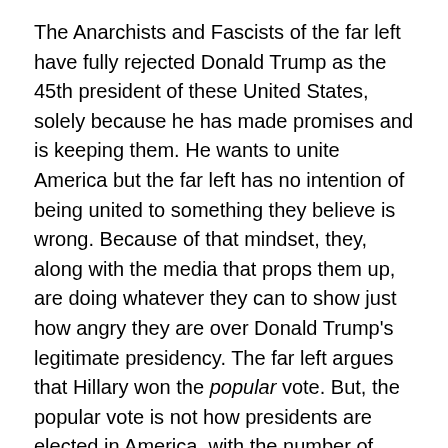The Anarchists and Fascists of the far left have fully rejected Donald Trump as the 45th president of these United States, solely because he has made promises and is keeping them. He wants to unite America but the far left has no intention of being united to something they believe is wrong. Because of that mindset, they, along with the media that props them up, are doing whatever they can to show just how angry they are over Donald Trump's legitimate presidency. The far left argues that Hillary won the popular vote. But, the popular vote is not how presidents are elected in America, with the number of votes calculating the electoral college votes. Hillary lost the electoral college vote and the far left needs to close down their protests and get on board. It looks like neither will happen anytime soon.

The far left is calling for Trump's impeachment even